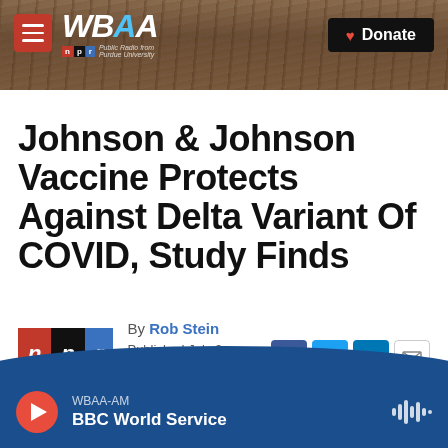[Figure (screenshot): WBAA website header banner with tree/nature background photo, hamburger menu red button, WBAA logo with NPR branding, and black Donate button with heart icon]
Johnson & Johnson Vaccine Protects Against Delta Variant Of COVID, Study Finds
By Rob Stein
Published July 2, 2021 at 5:02 AM EDT
[Figure (logo): NPR logo with red N, black P, blue R boxes]
[Figure (screenshot): Social sharing icons: Facebook, Twitter, LinkedIn, Email]
[Figure (screenshot): WBAA-AM BBC World Service audio player bar at bottom with red play button, station info, and waveform icon]